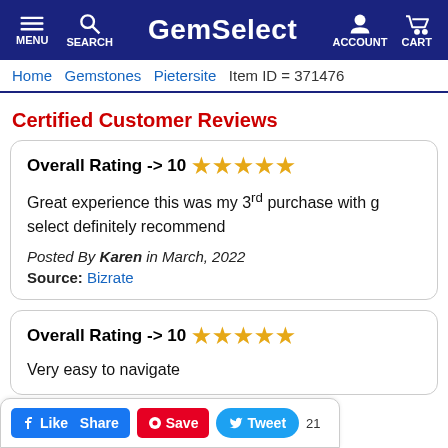GemSelect — MENU SEARCH ACCOUNT CART
Home  Gemstones  Pietersite  Item ID = 371476
Certified Customer Reviews
Overall Rating -> 10 ★★★★★
Great experience this was my 3rd purchase with g select definitely recommend
Posted By Karen in March, 2022
Source: Bizrate
Overall Rating -> 10 ★★★★★
Very easy to navigate